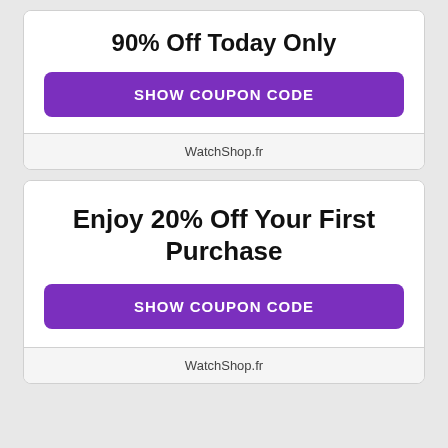90% Off Today Only
SHOW COUPON CODE
WatchShop.fr
Enjoy 20% Off Your First Purchase
SHOW COUPON CODE
WatchShop.fr